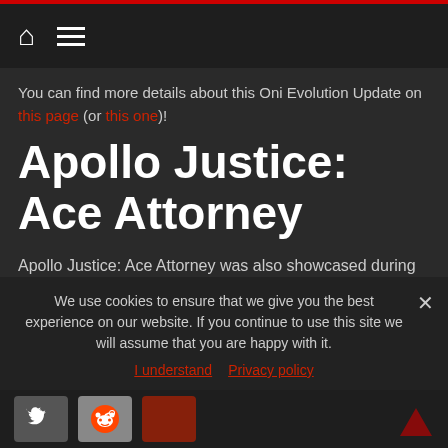Navigation header with home and menu icons
You can find more details about this Oni Evolution Update on this page (or this one)!
Apollo Justice: Ace Attorney
Apollo Justice: Ace Attorney was also showcased during the Nintendo Direct, but nothing really new was shown or announced. The game is out on November 22nd in Japan, and this November in Europe and North America.
We use cookies to ensure that we give you the best experience on our website. If you continue to use this site we will assume that you are happy with it.
I understand  Privacy policy